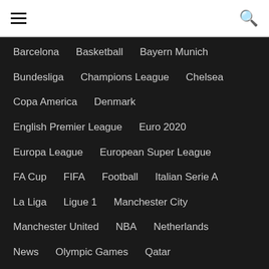Navigation header with hamburger menu and search icon
Barcelona
Basketball
Bayern Munich
Bundesliga
Champions League
Chelsea
Copa America
Denmark
English Premier League
Euro 2020
Europa League
European Super League
FA Cup
FIFA
Football
Italian Serie A
La Liga
Ligue 1
Manchester City
Manchester United
NBA
Netherlands
News
Olympic Games
Qatar
Real Madrid
Stories
Tennis
UEFA
World Cup
Follow Us